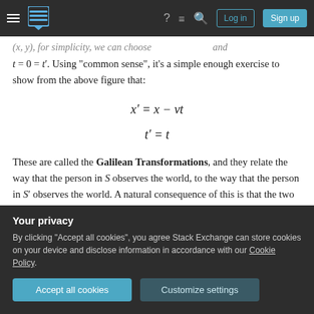Stack Exchange navigation bar with hamburger menu, logo, question mark, list, search icons, Log in and Sign up buttons
(x,y), for simplicity, we can choose ... and set t = 0 = t'. Using "common sense", it's a simple enough exercise to show from the above figure that:
These are called the Galilean Transformations, and they relate the way that the person in S observes the world, to the way that the person in S' observes the world. A natural consequence of this is that the two observers will never agree upon the velocities of a third object. For
Your privacy
By clicking "Accept all cookies", you agree Stack Exchange can store cookies on your device and disclose information in accordance with our Cookie Policy.
Accept all cookies   Customize settings